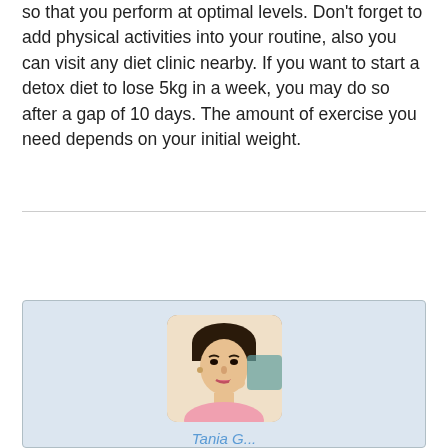so that you perform at optimal levels. Don't forget to add physical activities into your routine, also you can visit any diet clinic nearby. If you want to start a detox diet to lose 5kg in a week, you may do so after a gap of 10 days. The amount of exercise you need depends on your initial weight.
[Figure (photo): Author profile photo of a young woman with dark hair, wearing a pink outfit, posed with hand near face. Below the photo is a partially visible name in blue italic text.]